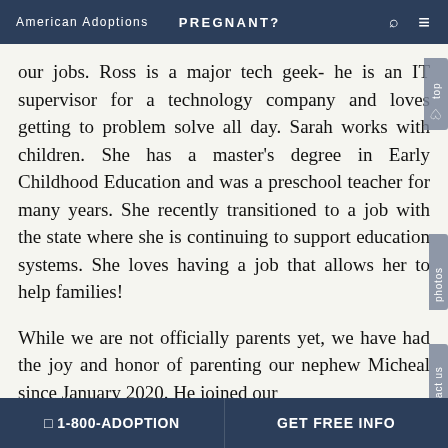American Adoptions   PREGNANT?
our jobs. Ross is a major tech geek- he is an IT supervisor for a technology company and loves getting to problem solve all day. Sarah works with children. She has a master's degree in Early Childhood Education and was a preschool teacher for many years. She recently transitioned to a job with the state where she is continuing to support education systems. She loves having a job that allows her to help families!
While we are not officially parents yet, we have had the joy and honor of parenting our nephew Micheal since January 2020. He joined our house when he was 4.5 and his mother was...
📞 1-800-ADOPTION   GET FREE INFO